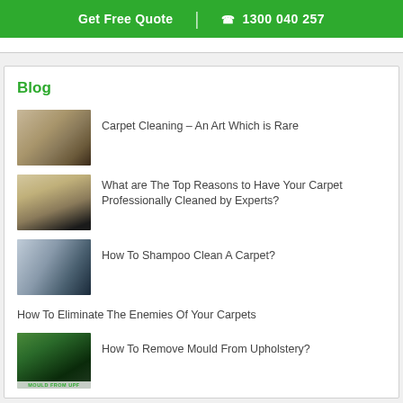Get Free Quote | 1300 040 257
Blog
Carpet Cleaning – An Art Which is Rare
What are The Top Reasons to Have Your Carpet Professionally Cleaned by Experts?
How To Shampoo Clean A Carpet?
How To Eliminate The Enemies Of Your Carpets
How To Remove Mould From Upholstery?